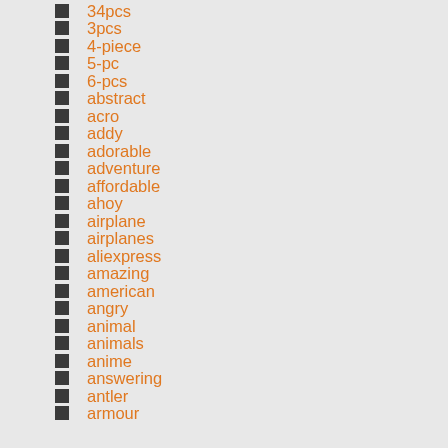34pcs
3pcs
4-piece
5-pc
6-pcs
abstract
acro
addy
adorable
adventure
affordable
ahoy
airplane
airplanes
aliexpress
amazing
american
angry
animal
animals
anime
answering
antler
armour